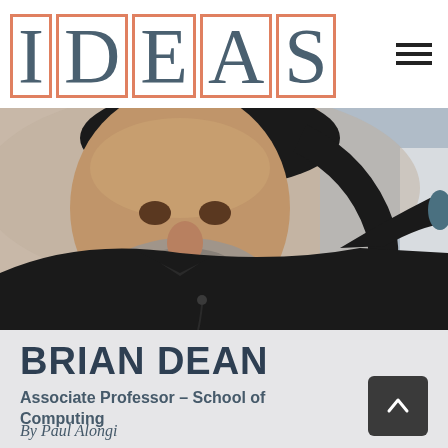IDEAS
[Figure (photo): A man with a beard and long dark hair wearing a black polo shirt, gesturing with his arm raised, photographed from below in a classroom or lecture setting]
BRIAN DEAN
Associate Professor – School of Computing
By Paul Alongi